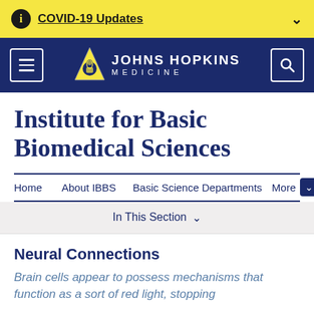COVID-19 Updates
[Figure (logo): Johns Hopkins Medicine logo with triangle shield icon and text JOHNS HOPKINS MEDICINE]
Institute for Basic Biomedical Sciences
Home   About IBBS   Basic Science Departments   More
In This Section
Neural Connections
Brain cells appear to possess mechanisms that function as a sort of red light, stopping